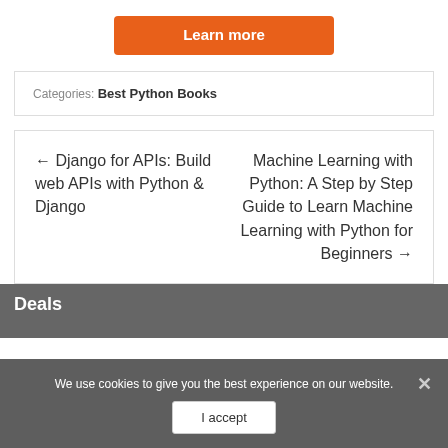[Figure (other): Orange 'Learn more' button]
Categories: Best Python Books
← Django for APIs: Build web APIs with Python & Django
Machine Learning with Python: A Step by Step Guide to Learn Machine Learning with Python for Beginners →
Deals
We use cookies to give you the best experience on our website.
I accept